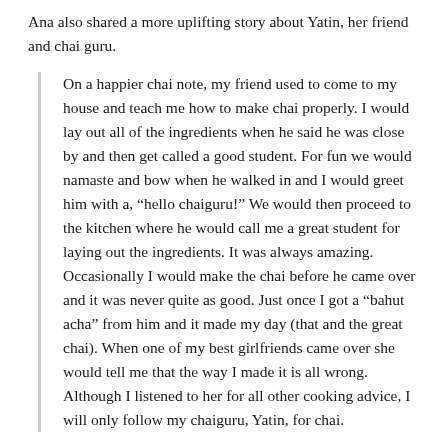Ana also shared a more uplifting story about Yatin, her friend and chai guru.
On a happier chai note, my friend used to come to my house and teach me how to make chai properly. I would lay out all of the ingredients when he said he was close by and then get called a good student. For fun we would namaste and bow when he walked in and I would greet him with a, “hello chaiguru!” We would then proceed to the kitchen where he would call me a great student for laying out the ingredients. It was always amazing. Occasionally I would make the chai before he came over and it was never quite as good. Just once I got a “bahut acha” from him and it made my day (that and the great chai). When one of my best girlfriends came over she would tell me that the way I made it is all wrong. Although I listened to her for all other cooking advice, I will only follow my chaiguru, Yatin, for chai.